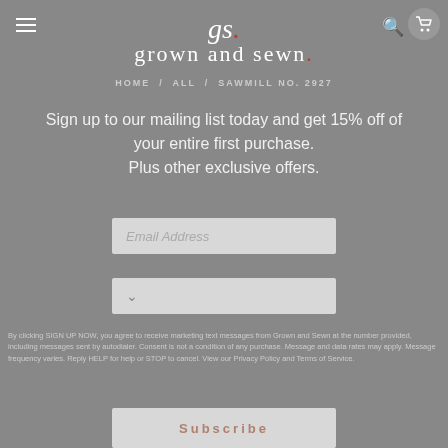[Figure (logo): Grown and Sewn brand logo with 'gs.' monogram at top and full brand name below]
HOME / ALL / SAWMILL NO. 2927
Sign up to our mailing list today and get 15% off of your entire first purchase. Plus other exclusive offers.
Email Address
(dropdown selector)
By clicking SIGN UP NOW, you agree to receive marketing text messages from Grown and Sewn at the number provided, including messages sent by autodialer. Consent is not a condition of any purchase. Message and data rates may apply. Message frequency varies. Reply HELP for help or STOP to cancel. View our Privacy Policy and Terms of Service.
Subscribe